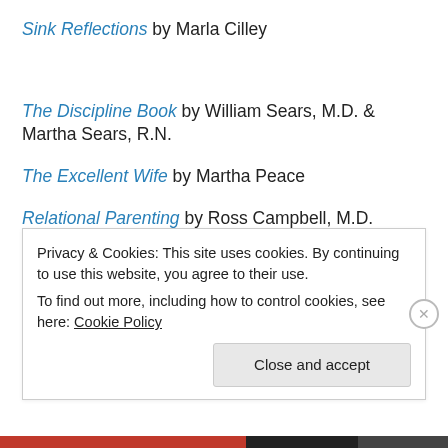Sink Reflections by Marla Cilley
The Discipline Book by William Sears, M.D. & Martha Sears, R.N.
The Excellent Wife by Martha Peace
Relational Parenting by Ross Campbell, M.D.
Privacy & Cookies: This site uses cookies. By continuing to use this website, you agree to their use.
To find out more, including how to control cookies, see here: Cookie Policy